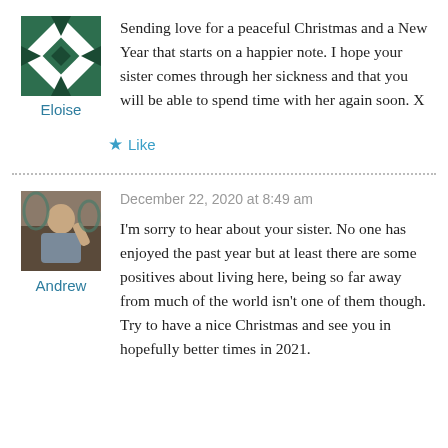[Figure (illustration): Green quilt-style star logo (Eloise avatar)]
Eloise
Sending love for a peaceful Christmas and a New Year that starts on a happier note. I hope your sister comes through her sickness and that you will be able to spend time with her again soon. X
★ Like
[Figure (photo): Photo of Andrew]
Andrew
December 22, 2020 at 8:49 am
I'm sorry to hear about your sister. No one has enjoyed the past year but at least there are some positives about living here, being so far away from much of the world isn't one of them though. Try to have a nice Christmas and see you in hopefully better times in 2021.